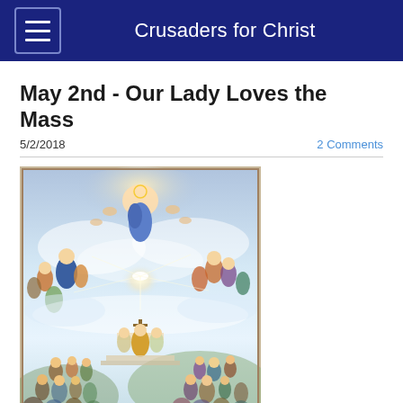Crusaders for Christ
May 2nd - Our Lady Loves the Mass
5/2/2018
2 Comments
[Figure (illustration): Religious painting depicting a heavenly scene with the Mass. At the top center, a figure of Christ ascending in blue robes surrounded by angels and saints in clouds. A white dove (Holy Spirit) shines rays of light in the center. The Virgin Mary appears on the left in blue robes surrounded by saints. An altar scene at bottom center shows a priest celebrating Mass with angels and a crucifix, surrounded by a large congregation of worshippers.]